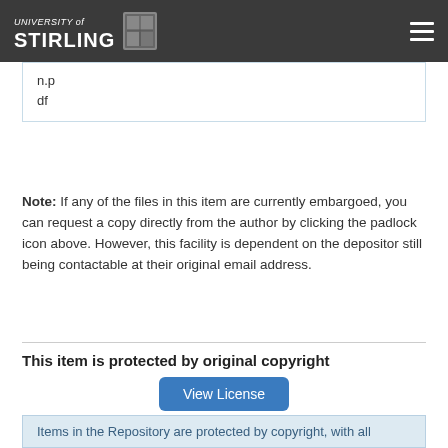UNIVERSITY of STIRLING
n.pdf
Note: If any of the files in this item are currently embargoed, you can request a copy directly from the author by clicking the padlock icon above. However, this facility is dependent on the depositor still being contactable at their original email address.
This item is protected by original copyright
View License
Show full item record
Items in the Repository are protected by copyright, with all